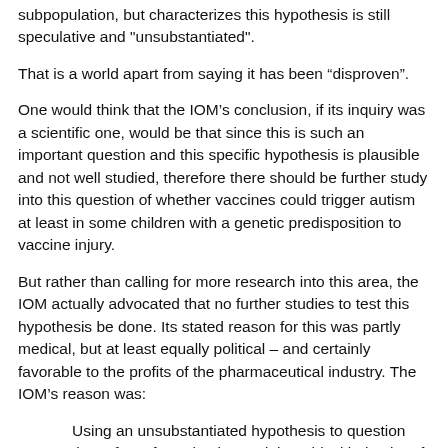subpopulation, but characterizes this hypothesis is still speculative and "unsubstantiated".
That is a world apart from saying it has been “disproven”.
One would think that the IOM’s conclusion, if its inquiry was a scientific one, would be that since this is such an important question and this specific hypothesis is plausible and not well studied, therefore there should be further study into this question of whether vaccines could trigger autism at least in some children with a genetic predisposition to vaccine injury.
But rather than calling for more research into this area, the IOM actually advocated that no further studies to test this hypothesis be done. Its stated reason for this was partly medical, but at least equally political – and certainly favorable to the profits of the pharmaceutical industry. The IOM’s reason was:
Using an unsubstantiated hypothesis to question the safety of vaccination and the ethical behavior of those governmental agencies and scientists who advocate for vaccination could lead to widespread rejection of vaccines and its it being prominently from